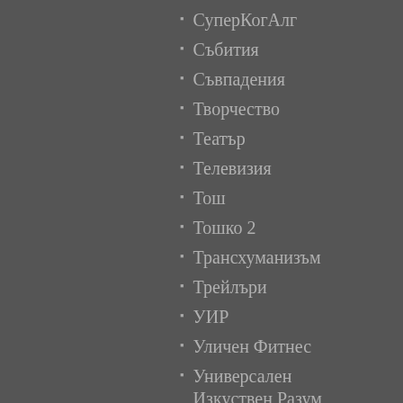СуперКогАлг
Събития
Съвпадения
Творчество
Театър
Телевизия
Тош
Тошко 2
Трансхуманизъм
Трейлъри
УИР
Уличен Фитнес
Универсален Изкуствен Разум
Университет